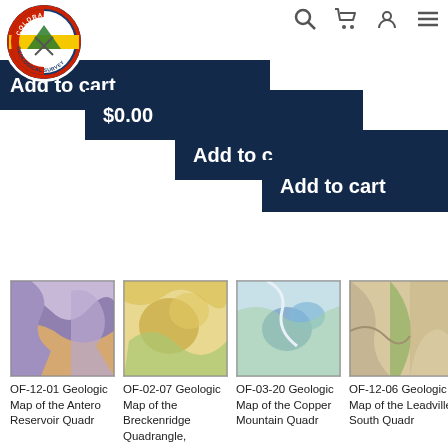[Figure (logo): Colorado Geological Survey circular logo with blue border, Colorado C shape, mountain and pick-axe imagery]
Add to cart  $0.00  $0.00  Add to cart  Add to cart  Add to cart
[Figure (photo): Geologic map thumbnail for OF-12-01 showing purple and tan geological formations]
OF-12-01 Geologic Map of the Antero Reservoir Quadrangle,
[Figure (photo): Geologic map thumbnail for OF-02-07 showing yellow and green geological formations of Breckenridge]
OF-02-07 Geologic Map of the Breckenridge Quadrangle, Summit
[Figure (photo): Geologic map thumbnail for OF-03-20 showing blue, green, and white geological formations of Copper Mountain]
OF-03-20 Geologic Map of the Copper Mountain Quadrangle,
[Figure (photo): Geologic map thumbnail for OF-12-06 showing tan, green geological formations of Leadville South area]
OF-12-06 Geologic Map of the Leadville South Quadrangle,